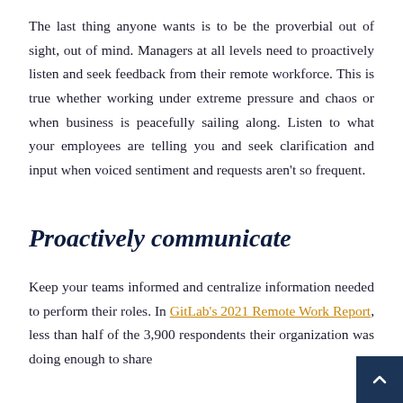The last thing anyone wants is to be the proverbial out of sight, out of mind. Managers at all levels need to proactively listen and seek feedback from their remote workforce. This is true whether working under extreme pressure and chaos or when business is peacefully sailing along. Listen to what your employees are telling you and seek clarification and input when voiced sentiment and requests aren't so frequent.
Proactively communicate
Keep your teams informed and centralize information needed to perform their roles. In GitLab's 2021 Remote Work Report, less than half of the 3,900 respondents their organization was doing enough to share